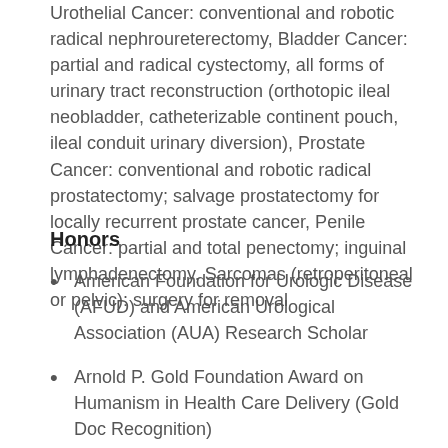Urothelial Cancer: conventional and robotic radical nephroureterectomy, Bladder Cancer: partial and radical cystectomy, all forms of urinary tract reconstruction (orthotopic ileal neobladder, catheterizable continent pouch, ileal conduit urinary diversion), Prostate Cancer: conventional and robotic radical prostatectomy; salvage prostatectomy for locally recurrent prostate cancer, Penile Cancer: partial and total penectomy; inguinal lymphadenectomy, Sarcomas (retroperitoneal or pelvic): surgery for removal
Honors
American Foundation for Urologic Disease (AFUD) and American Urological Association (AUA) Research Scholar
Arnold P. Gold Foundation Award on Humanism in Health Care Delivery (Gold Doc Recognition)
Leander Riba Award for Excellence and Compassion in Patient Care
Faculty Teaching Award, Urology Residency